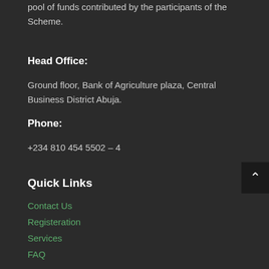pool of funds contributed by the participants of the Scheme.
Head Office:
Ground floor, Bank of Agriculture plaza, Central Business District Abuja.
Phone:
+234 810 454 5502 – 4
Quick Links
Contact Us
Registeration
Services
FAQ